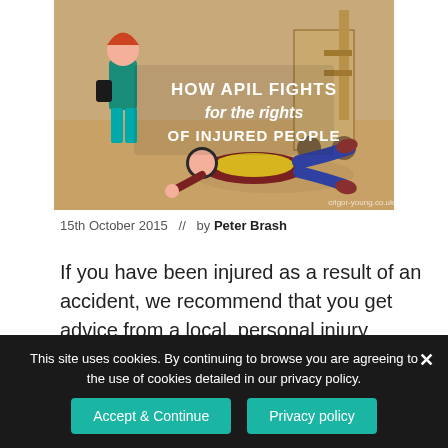[Figure (illustration): Illustrated image with text overlay reading 'HOW APIL FIGHTS for the rights OF INJURED PEOPLE'. Shows a woman in teal scrubs, a fallen worker in a yellow vest, and a forklift. Watermark: crigor-young.co.uk]
15th October 2015  //  by Peter Brash
If you have been injured as a result of an accident, we recommend that you get advice from a local, personal injury specialist solicitor, to see if you have prospects of
This site uses cookies. By continuing to browse you are agreeing to the use of cookies detailed in our privacy policy.
Accept & Continue
Privacy policy